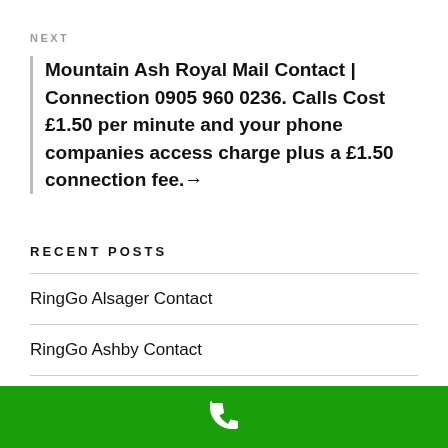NEXT
Mountain Ash Royal Mail Contact | Connection 0905 960 0236. Calls Cost £1.50 per minute and your phone companies access charge plus a £1.50 connection fee.→
RECENT POSTS
RingGo Alsager Contact
RingGo Ashby Contact
RingGo Aldersbrook Contact
[Figure (other): Green footer bar with white phone icon]